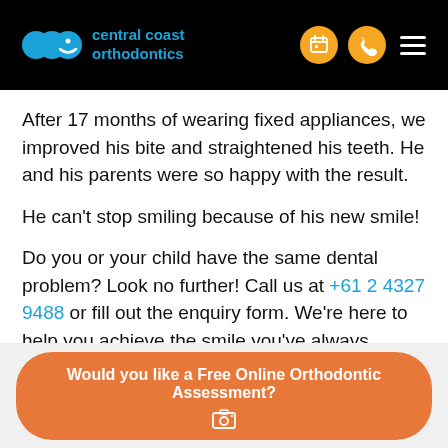Central Coast Orthodontics
After 17 months of wearing fixed appliances, we improved his bite and straightened his teeth. He and his parents were so happy with the result.

He can't stop smiling because of his new smile!

Do you or your child have the same dental problem? Look no further! Call us at +61 2 4327 9488 or fill out the enquiry form. We're here to help you achieve the smile you've always wanted.
Would you like a Free Online Orthodontic Assessment?